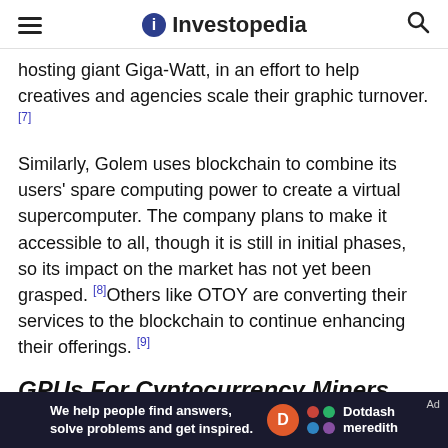Investopedia
hosting giant Giga-Watt, in an effort to help creatives and agencies scale their graphic turnover.[7]
Similarly, Golem uses blockchain to combine its users' spare computing power to create a virtual supercomputer. The company plans to make it accessible to all, though it is still in initial phases, so its impact on the market has not yet been grasped.[8] Others like OTOY are converting their services to the blockchain to continue enhancing their offerings.[9]
GPUs For Cyptocurrency Miners
In January of 2021, the CFO of Nvidia suggested that